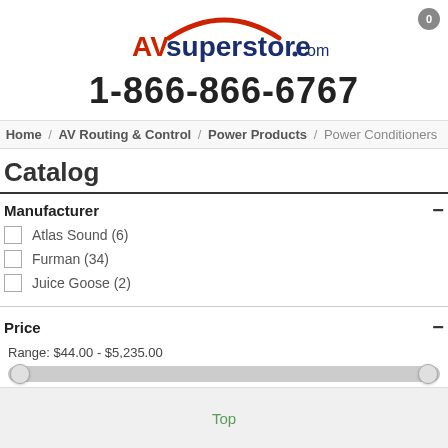[Figure (logo): AVsuperstore.com logo with red arc above text]
1-866-866-6767
Home / AV Routing & Control / Power Products / Power Conditioners
Catalog
Manufacturer
Atlas Sound (6)
Furman (34)
Juice Goose (2)
Price
Range: $44.00 - $5,235.00
[Figure (other): Price range slider with two handles]
Top